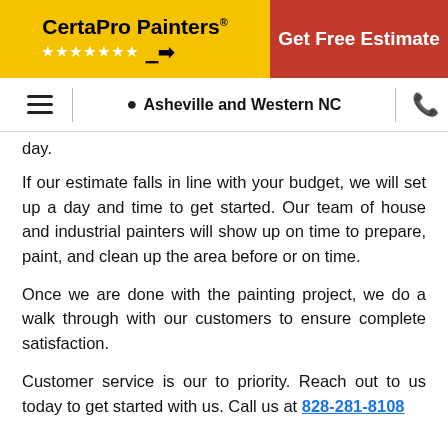CertaPro Painters® | Get Free Estimate
☰ | Asheville and Western NC | ☎
day.
If our estimate falls in line with your budget, we will set up a day and time to get started. Our team of house and industrial painters will show up on time to prepare, paint, and clean up the area before or on time.
Once we are done with the painting project, we do a walk through with our customers to ensure complete satisfaction.
Customer service is our to priority. Reach out to us today to get started with us. Call us at 828-281-8108